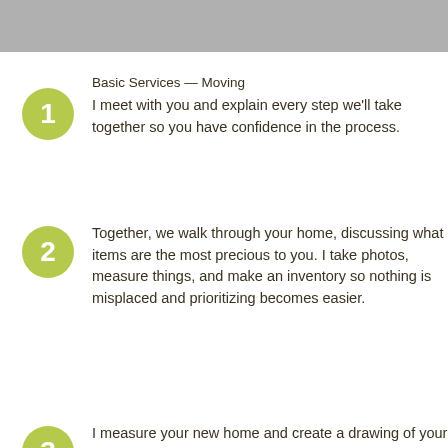Basic Services — Moving
I meet with you and explain every step we'll take together so you have confidence in the process.
Together, we walk through your home, discussing what items are the most precious to you. I take photos, measure things, and make an inventory so nothing is misplaced and prioritizing becomes easier.
I measure your new home and create a drawing of your new